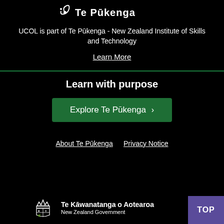[Figure (logo): Te Pūkenga logo with fern/leaf motif and wordmark]
UCOL is part of Te Pūkenga - New Zealand Institute of Skills and Technology
Learn More
Learn with purpose
Explore Te Pūkenga >
About Te Pūkenga   Privacy Notice
[Figure (logo): New Zealand Government crest - Te Kāwanatanga o Aotearoa]
Te Kāwanatanga o Aotearoa
New Zealand Government
TOP